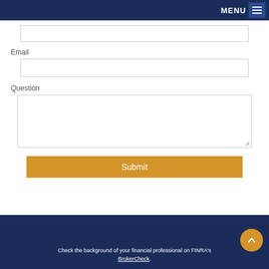MENU
Email
Question
Submit
Check the background of your financial professional on FINRA's BrokerCheck.